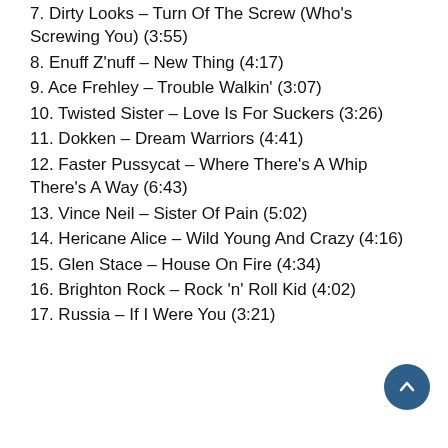7. Dirty Looks – Turn Of The Screw (Who's Screwing You) (3:55)
8. Enuff Z'nuff – New Thing (4:17)
9. Ace Frehley – Trouble Walkin' (3:07)
10. Twisted Sister – Love Is For Suckers (3:26)
11. Dokken – Dream Warriors (4:41)
12. Faster Pussycat – Where There's A Whip There's A Way (6:43)
13. Vince Neil – Sister Of Pain (5:02)
14. Hericane Alice – Wild Young And Crazy (4:16)
15. Glen Stace – House On Fire (4:34)
16. Brighton Rock – Rock 'n' Roll Kid (4:02)
17. Russia – If I Were You (3:21)